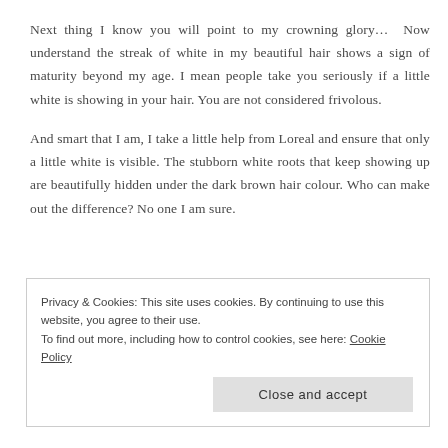Next thing I know you will point to my crowning glory…  Now understand the streak of white in my beautiful hair shows a sign of maturity beyond my age. I mean people take you seriously if a little white is showing in your hair. You are not considered frivolous.
And smart that I am, I take a little help from Loreal and ensure that only a little white is visible. The stubborn white roots that keep showing up are beautifully hidden under the dark brown hair colour. Who can make out the difference? No one I am sure.
Privacy & Cookies: This site uses cookies. By continuing to use this website, you agree to their use.
To find out more, including how to control cookies, see here: Cookie Policy

Close and accept